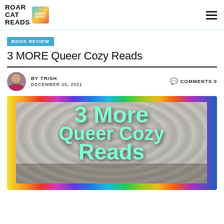ROAR CAT READS | QUEER NERDY
BOOK REVIEW
3 MORE Queer Cozy Reads
BY TRISH   DECEMBER 20, 2021   COMMENTS 0
[Figure (photo): Hero image with rainbow border, photo of hands holding a book wrapped in chunky knit blanket, with large mint-green text overlay reading '3 More Queer Cozy Reads']